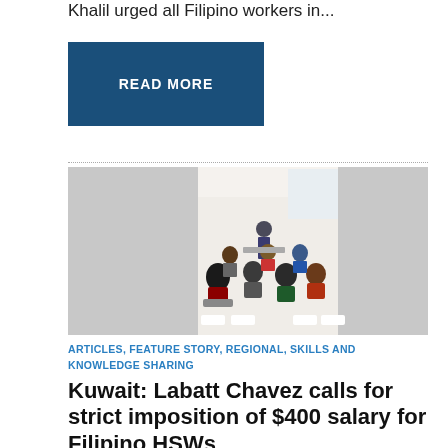Khalil urged all Filipino workers in...
READ MORE
[Figure (photo): People seated in chairs attending a meeting or seminar, with a speaker standing at the front of the room.]
ARTICLES, FEATURE STORY, REGIONAL, SKILLS AND KNOWLEDGE SHARING
Kuwait: Labatt Chavez calls for strict imposition of $400 salary for Filipino HSWs